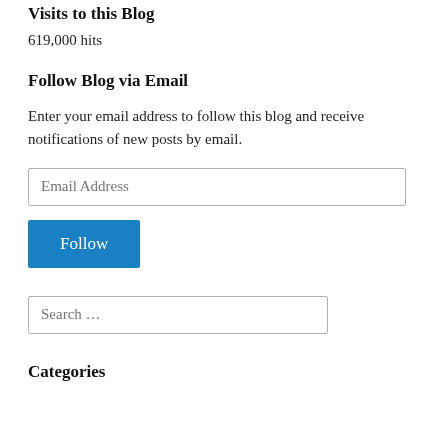Visits to this Blog
619,000 hits
Follow Blog via Email
Enter your email address to follow this blog and receive notifications of new posts by email.
Email Address
Follow
Search …
Categories